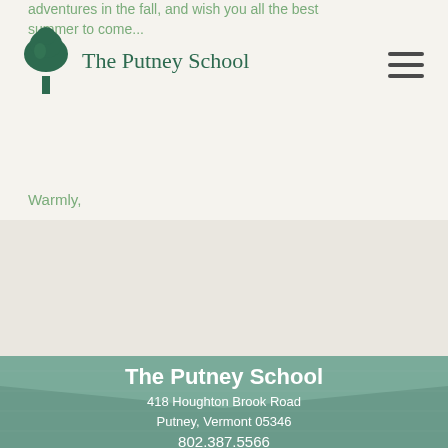adventures in the fall, and wish you all the best summer to come...
[Figure (logo): The Putney School logo with tree icon and text]
Warmly,
Karen
Karen Guttentag
Dean of Students
The Putney School
418 Houghton Brook Road
Putney, Vermont 05346
802.387.5566
info@putneyschool.org